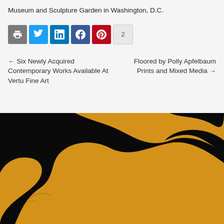Museum and Sculpture Garden in Washington, D.C.
[Figure (other): Social sharing buttons: print, Twitter, LinkedIn, Facebook, Pinterest, and a count badge showing 2]
← Six Newly Acquired Contemporary Works Available At Vertu Fine Art
Floored by Polly Apfelbaum Prints and Mixed Media →
[Figure (photo): Close-up artwork image showing bold golden/amber organic shapes against a black background, reminiscent of stylized floral or figure forms]